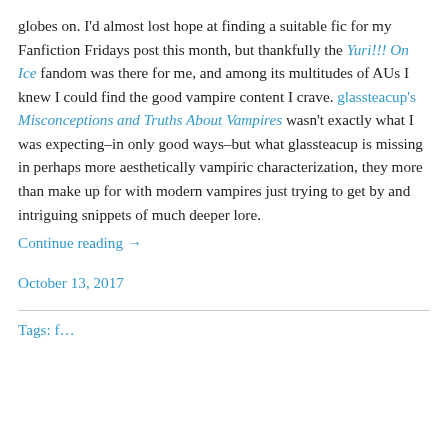globes on. I'd almost lost hope at finding a suitable fic for my Fanfiction Fridays post this month, but thankfully the Yuri!!! On Ice fandom was there for me, and among its multitudes of AUs I knew I could find the good vampire content I crave. glassteacup's Misconceptions and Truths About Vampires wasn't exactly what I was expecting–in only good ways–but what glassteacup is missing in perhaps more aesthetically vampiric characterization, they more than make up for with modern vampires just trying to get by and intriguing snippets of much deeper lore.
Continue reading →
October 13, 2017
Tags: f...